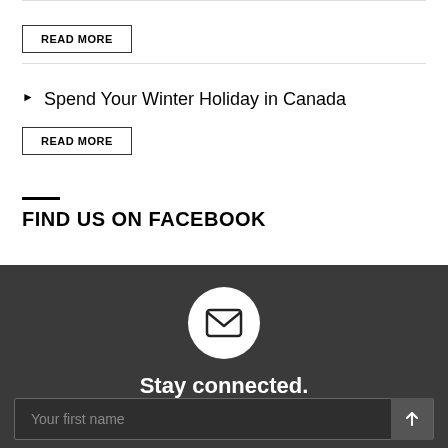[Figure (other): READ MORE button with border]
Spend Your Winter Holiday in Canada
[Figure (other): READ MORE button with border]
FIND US ON FACEBOOK
[Figure (other): Mail envelope icon in a white circle on dark background]
Stay connected.
Your first name